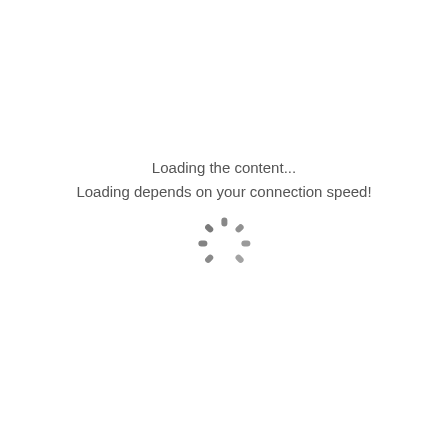Loading the content...
Loading depends on your connection speed!
[Figure (other): Circular loading spinner graphic made of dashed arc segments in gray]